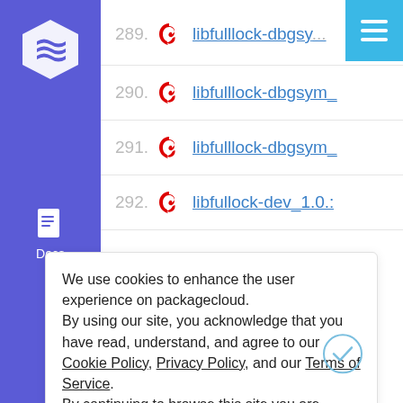[Figure (logo): Sidebar with purple background, white hexagon logo, and Docs icon]
289. libfulllock-dbgsy...
290. libfulllock-dbgsym_
291. libfulllock-dbgsym_
292. libfullock-dev_1.0.:
We use cookies to enhance the user experience on packagecloud. By using our site, you acknowledge that you have read, understand, and agree to our Cookie Policy, Privacy Policy, and our Terms of Service. By continuing to browse this site you are agreeing to our use of cookies.